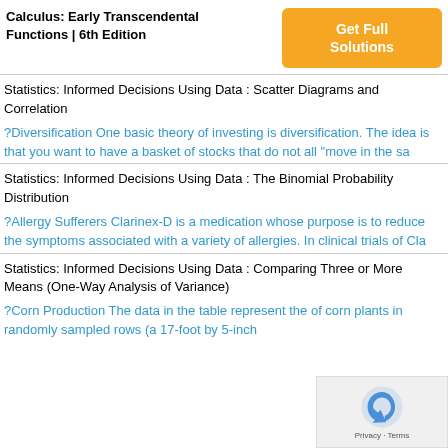Calculus: Early Transcendental Functions | 6th Edition
Get Full Solutions
Statistics: Informed Decisions Using Data : Scatter Diagrams and Correlation
?Diversification One basic theory of investing is diversification. The idea is that you want to have a basket of stocks that do not all “move in the sa
Statistics: Informed Decisions Using Data : The Binomial Probability Distribution
?Allergy Sufferers Clarinex-D is a medication whose purpose is to reduce the symptoms associated with a variety of allergies. In clinical trials of Cla
Statistics: Informed Decisions Using Data : Comparing Three or More Means (One-Way Analysis of Variance)
?Corn Production The data in the table represent the of corn plants in randomly sampled rows (a 17-foot by 5-inch